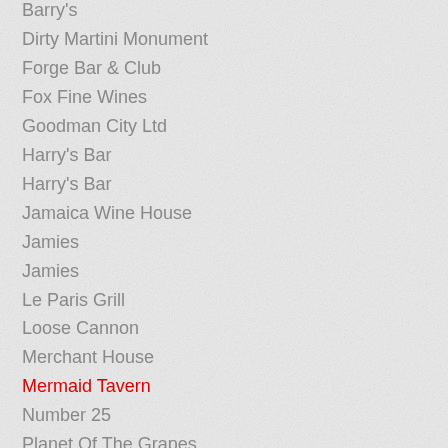Barry's
Dirty Martini Monument
Forge Bar & Club
Fox Fine Wines
Goodman City Ltd
Harry's Bar
Harry's Bar
Jamaica Wine House
Jamies
Jamies
Le Paris Grill
Loose Cannon
Merchant House
Mermaid Tavern
Number 25
Planet Of The Grapes
Planet of the Grapes Ltd
Quarter Jacks, Grange St Pauls Hotel
Reflex
Rosemary's